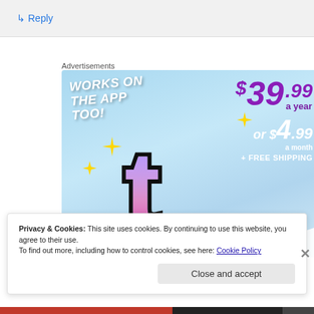↳ Reply
Advertisements
[Figure (illustration): Advertisement banner for a subscription service: 'WORKS ON THE APP TOO!' with pricing $39.99 a year or $4.99 a month + FREE SHIPPING, featuring a stylized letter T logo with sparkle stars on a blue sky background]
Privacy & Cookies: This site uses cookies. By continuing to use this website, you agree to their use.
To find out more, including how to control cookies, see here: Cookie Policy
Close and accept